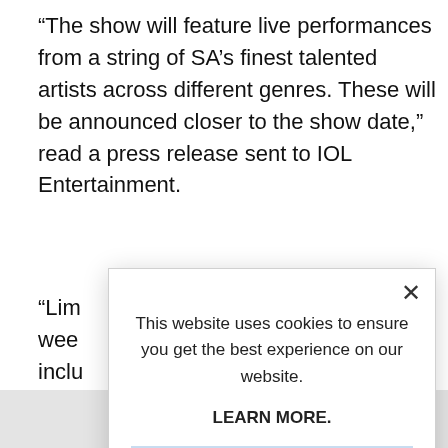“The show will feature live performances from a string of SA’s finest talented artists across different genres. These will be announced closer to the show date,” read a press release sent to IOL Entertainment.
“Lim[ited text visible] wee[k...] inclu[ding...] and [...]
With[...] ticke[t...] exch[ange...]
[Figure (screenshot): Cookie consent modal dialog with close X button, message 'This website uses cookies to ensure you get the best experience on our website.', bold 'LEARN MORE.' text, and a light blue 'ACCEPT COOKIES' button.]